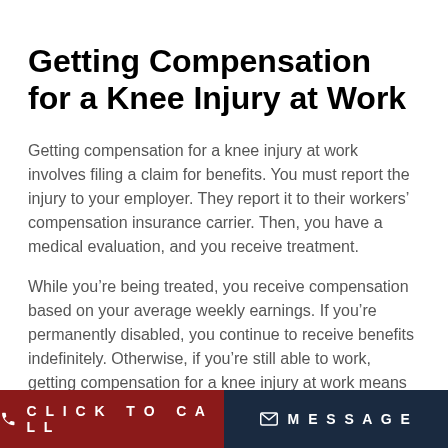Getting Compensation for a Knee Injury at Work
Getting compensation for a knee injury at work involves filing a claim for benefits. You must report the injury to your employer. They report it to their workers’ compensation insurance carrier. Then, you have a medical evaluation, and you receive treatment.
While you’re being treated, you receive compensation based on your average weekly earnings. If you’re permanently disabled, you continue to receive benefits indefinitely. Otherwise, if you’re still able to work, getting compensation for a knee injury at work means receiving a number of weeks’ salary as pay for your injuries.
CLICK TO CALL   MESSAGE